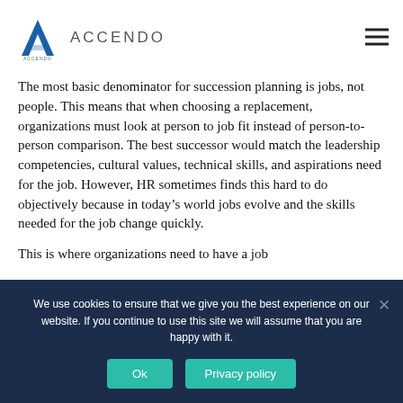ACCENDO
The most basic denominator for succession planning is jobs, not people. This means that when choosing a replacement, organizations must look at person to job fit instead of person-to-person comparison. The best successor would match the leadership competencies, cultural values, technical skills, and aspirations need for the job. However, HR sometimes finds this hard to do objectively because in today’s world jobs evolve and the skills needed for the job change quickly.

This is where organizations need to have a job
We use cookies to ensure that we give you the best experience on our website. If you continue to use this site we will assume that you are happy with it.